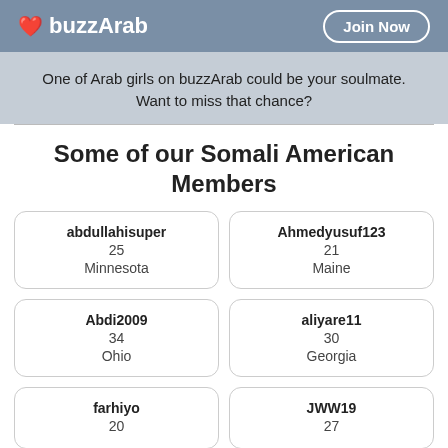buzzArab | Join Now
One of Arab girls on buzzArab could be your soulmate. Want to miss that chance?
Some of our Somali American Members
| Username | Age | Location |
| --- | --- | --- |
| abdullahisuper | 25 | Minnesota |
| Ahmedyusuf123 | 21 | Maine |
| Abdi2009 | 34 | Ohio |
| aliyare11 | 30 | Georgia |
| farhiyo | 20 |  |
| JWW19 | 27 |  |